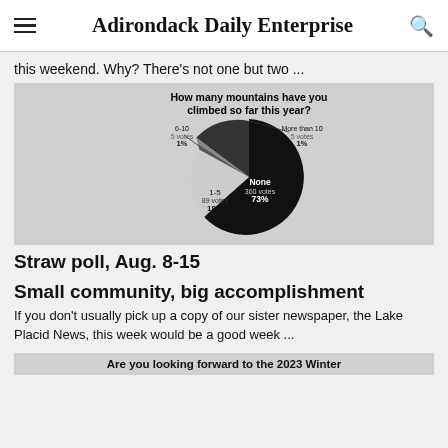Adirondack Daily Enterprise
this weekend. Why? There’s not one but two …
[Figure (pie-chart): How many mountains have you climbed so far this year?]
Straw poll, Aug. 8-15
Small community, big accomplishment
If you don’t usually pick up a copy of our sister newspaper, the Lake Placid News, this week would be a good week …
Are you looking forward to the 2023 Winter